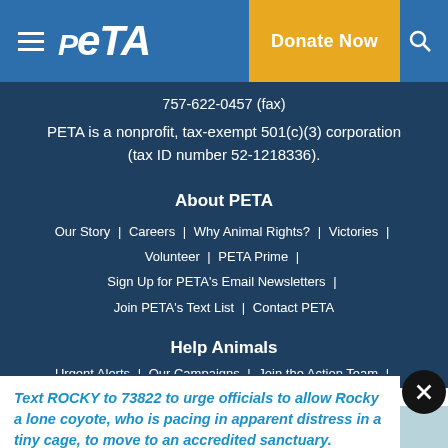PETA navigation bar with Donate Now button
757-622-0457 (fax)
PETA is a nonprofit, tax-exempt 501(c)(3) corporation (tax ID number 52-1218336).
About PETA
Our Story | Careers | Why Animal Rights? | Victories | Volunteer | PETA Prime | Sign Up for PETA's Email Newsletters | Join PETA's Text List | Contact PETA
Help Animals
Urgent Alerts | Our Campaigns | Join the Action Team
Text ROCKY to 73822 to urge officials to allow Rocky a lone coyote, who is pacing in apparent distress in a tiny cage, to move to an accredited sanctuary.